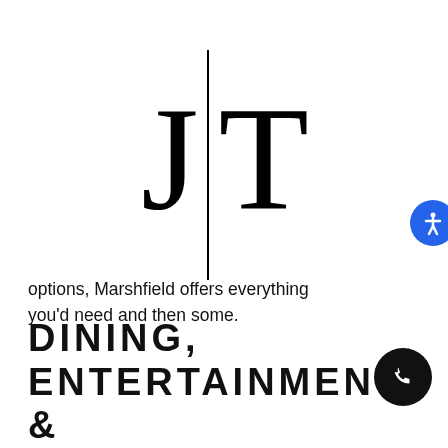[Figure (logo): J | T logo with large serif letters J and T separated by a vertical line]
options, Marshfield offers everything you'd need and then some.
DINING, ENTERTAINMENT, &